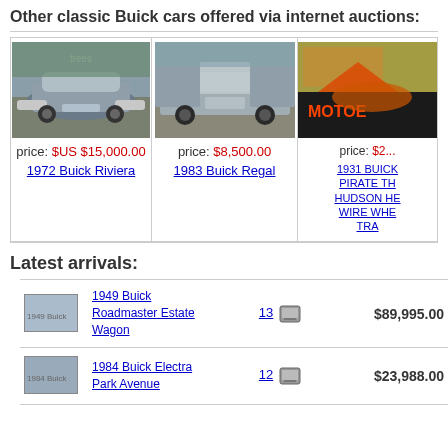Other classic Buick cars offered via internet auctions:
[Figure (photo): Photo of 1972 Buick Riviera front view, silver/blue car on dirt road]
price: $US $15,000.00
1972 Buick Riviera
[Figure (photo): Photo of 1983 Buick Regal station wagon, silver/grey, parked outside]
price: $8,500.00
1983 Buick Regal
[Figure (photo): Photo of 1931 Buick with MotoEx branding, vintage hot rod style]
price: $2...
1931 BUICK PIRATE TH HUDSON HE WIRE WHE TRA
Latest arrivals:
| thumb | name | count | icon | price |
| --- | --- | --- | --- | --- |
| [img] | 1949 Buick Roadmaster Estate Wagon | 13 | [icon] | $89,995.00 |
| [img] | 1984 Buick Electra Park Avenue | 12 | [icon] | $23,988.00 |